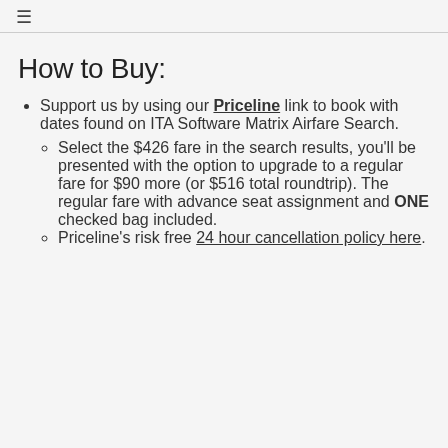☰
How to Buy:
Support us by using our Priceline link to book with dates found on ITA Software Matrix Airfare Search.
Select the $426 fare in the search results, you'll be presented with the option to upgrade to a regular fare for $90 more (or $516 total roundtrip). The regular fare with advance seat assignment and ONE checked bag included.
Priceline's risk free 24 hour cancellation policy here.